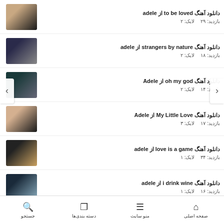دانلود آهنگ to be loved از adele | بازدید: ۲۹  لایک: ۲
دانلود آهنگ strangers by nature از adele | بازدید: ۱۸  لایک: ۲
دانلود آهنگ oh my god از Adele | بازدید: ۱۴  لایک: ۲
دانلود آهنگ My Little Love از Adele | بازدید: ۱۷  لایک: ۳
دانلود آهنگ love is a game از adele | بازدید: ۳۴  لایک: ۱
دانلود آهنگ i drink wine از adele | بازدید: ۱۶  لایک: ۱
دانلود آهنگ hold on از adele | بازدید: ۳۳  لایک: ۲
صفحه اصلی  منو سایت  دسته بندی‌ها  جستجو